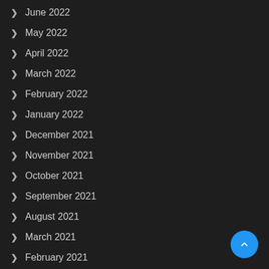June 2022
May 2022
April 2022
March 2022
February 2022
January 2022
December 2021
November 2021
October 2021
September 2021
August 2021
March 2021
February 2021
January 2021